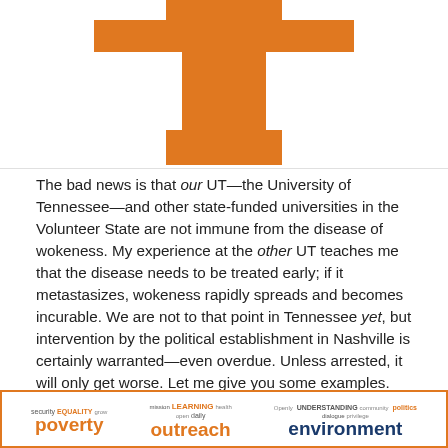[Figure (logo): University of Tennessee Power T logo in orange]
The bad news is that our UT—the University of Tennessee—and other state-funded universities in the Volunteer State are not immune from the disease of wokeness. My experience at the other UT teaches me that the disease needs to be treated early; if it metastasizes, wokeness rapidly spreads and becomes incurable. We are not to that point in Tennessee yet, but intervention by the political establishment in Nashville is certainly warranted—even overdue. Unless arrested, it will only get worse. Let me give you some examples.
[Figure (infographic): Word cloud with orange border containing words: poverty, outreach, environment and other university mission-related words in various colors and sizes]